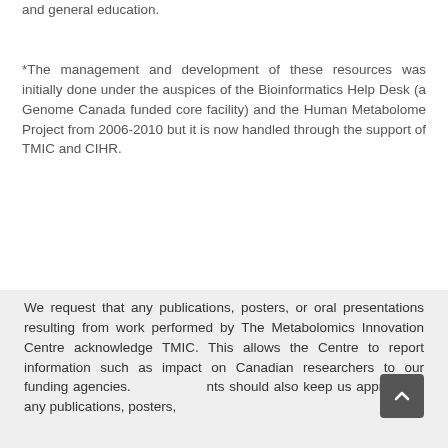and general education.
*The management and development of these resources was initially done under the auspices of the Bioinformatics Help Desk (a Genome Canada funded core facility) and the Human Metabolome Project from 2006-2010 but it is now handled through the support of TMIC and CIHR.
We request that any publications, posters, or oral presentations resulting from work performed by The Metabolomics Innovation Centre acknowledge TMIC. This allows the Centre to report information such as impact on Canadian researchers to our funding agencies. [nts should also keep us apprised of any publications, posters,